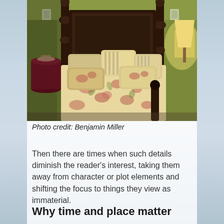[Figure (photo): A bedroom with a large four-poster bed with floral/cream bedding and multiple pillows, green walls, dark wood furniture, a red side table on the left, and a lamp on the right.]
Photo credit: Benjamin Miller
Then there are times when such details diminish the reader's interest, taking them away from character or plot elements and shifting the focus to things they view as immaterial.
Why time and place matter